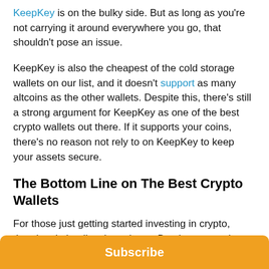KeepKey is on the bulky side. But as long as you're not carrying it around everywhere you go, that shouldn't pose an issue.
KeepKey is also the cheapest of the cold storage wallets on our list, and it doesn't support as many altcoins as the other wallets. Despite this, there's still a strong argument for KeepKey as one of the best crypto wallets out there. If it supports your coins, there's no reason not rely to on KeepKey to keep your assets secure.
The Bottom Line on The Best Crypto Wallets
For those just getting started investing in crypto, there's admittedly a lot to learn. But those past the “toe dipping” phase know that security is tantamount and a
Subscribe